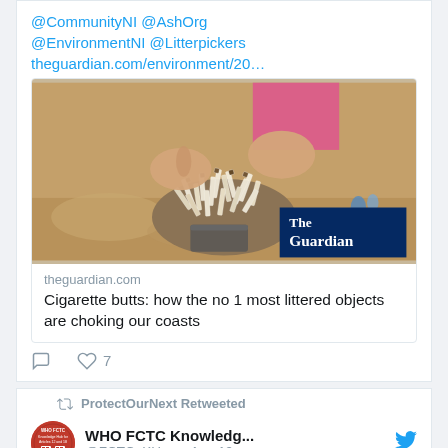@CommunityNI @AshOrg @EnvironmentNI @Litterpickers theguardian.com/environment/20…
[Figure (photo): Hands holding a large pile of cigarette butts over a sandy beach, with The Guardian logo badge in bottom right corner]
theguardian.com
Cigarette butts: how the no 1 most littered objects are choking our coasts
7 likes
ProtectOurNext Retweeted
WHO FCTC Knowledg... @FCTC_KH_... · Aug 19